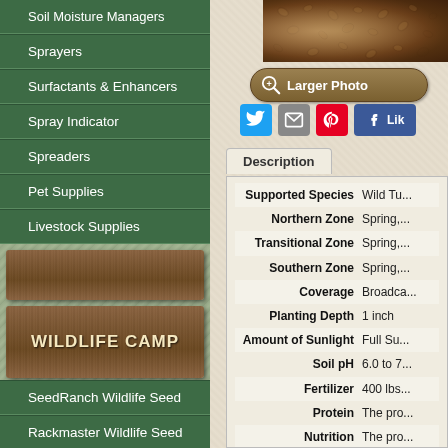Soil Moisture Managers
Sprayers
Surfactants & Enhancers
Spray Indicator
Spreaders
Pet Supplies
Livestock Supplies
WILDLIFE CAMP
SeedRanch Wildlife Seed
Rackmaster Wildlife Seed
Buckmasters Wildlife Seed
Whitetail Institute Seed
Tecomate Seed
Wingmaster Wildlife Seed
Evolved Habitats Products
Mossy Oak BioLogic Seed
[Figure (photo): Close-up photo of seeds/grain product]
Larger Photo
Description
| Field | Value |
| --- | --- |
| Supported Species | Wild Tu... |
| Northern Zone | Spring,... |
| Transitional Zone | Spring,... |
| Southern Zone | Spring,... |
| Coverage | Broadca... |
| Planting Depth | 1 inch |
| Amount of Sunlight | Full Su... |
| Soil pH | 6.0 to 7... |
| Fertilizer | 400 lbs... |
| Protein | The pro... |
| Nutrition | The pro... |
| Primary Usage | Turkeys... availabl... |
| Soil Type | Chufa li... |